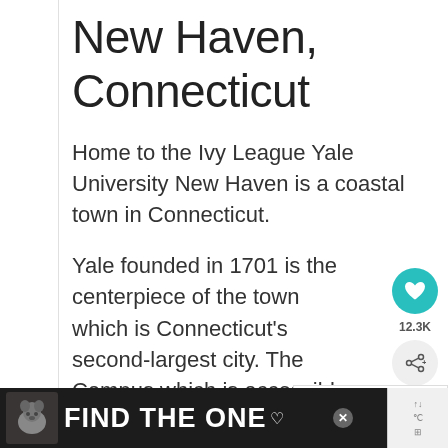New Haven, Connecticut
Home to the Ivy League Yale University New Haven is a coastal town in Connecticut.
Yale founded in 1701 is the centerpiece of the town which is Connecticut's second-largest city.  The Campus which is accessible houses the Yale Peabody Museum of Natural History, the Yale University Art Gallery, and the Yale Center for British A…